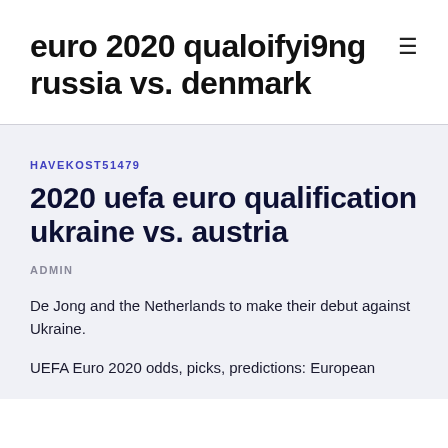euro 2020 qualoifyi9ng russia vs. denmark
HAVEKOST51479
2020 uefa euro qualification ukraine vs. austria
ADMIN
De Jong and the Netherlands to make their debut against Ukraine.
UEFA Euro 2020 odds, picks, predictions: European